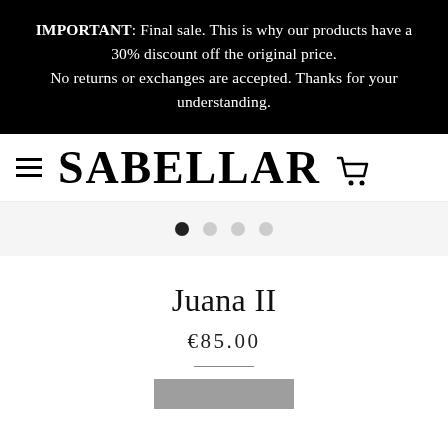IMPORTANT: Final sale. This is why our products have a 30% discount off the original price. No returns or exchanges are accepted. Thanks for your understanding.
SABELLAR
[Figure (other): Carousel navigation dots: one filled dark circle (active) followed by three lighter gray circles]
Juana II
€85.00
[Figure (other): Gray rectangular button/image area at bottom of product listing]